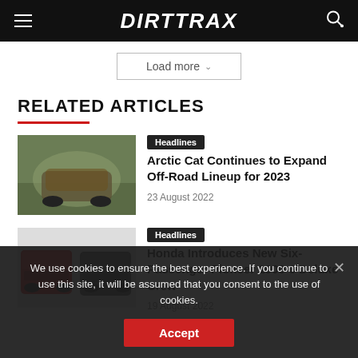DIRTTRAX
Load more
RELATED ARTICLES
Headlines
Arctic Cat Continues to Expand Off-Road Lineup for 2023
23 August 2022
Headlines
Honda Introduces New Six-Passenger Pioneer 1000-6 Deluxe Crew
19 August 2022
We use cookies to ensure the best experience. If you continue to use this site, it will be assumed that you consent to the use of cookies.